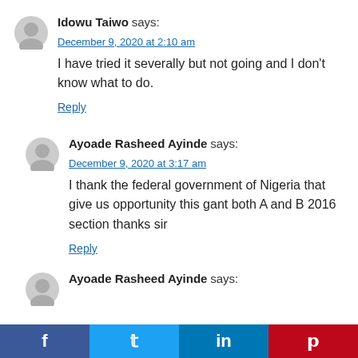Idowu Taiwo says:
December 9, 2020 at 2:10 am
I have tried it severally but not going and I don't know what to do.
Reply
Ayoade Rasheed Ayinde says:
December 9, 2020 at 3:17 am
I thank the federal government of Nigeria that give us opportunity this gant both A and B 2016 section thanks sir
Reply
Ayoade Rasheed Ayinde says: